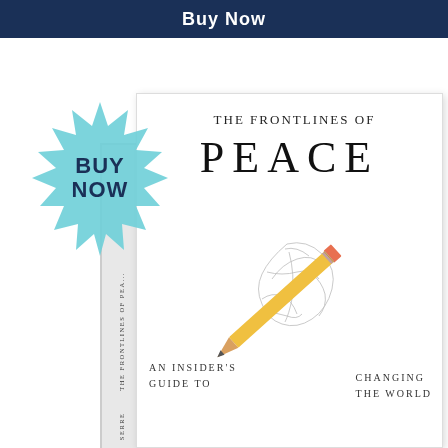Buy Now
[Figure (illustration): Teal starburst badge with 'BUY NOW' text in dark blue]
[Figure (photo): Book cover of 'The Frontlines of Peace: An Insider's Guide to Changing the World' showing a pencil and crumpled paper illustration, with the book spine visible on the left]